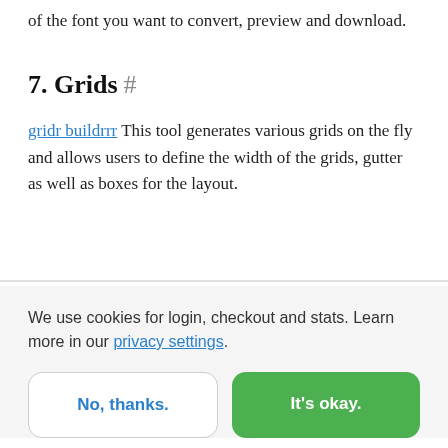of the font you want to convert, preview and download.
7. Grids #
gridr buildrrr This tool generates various grids on the fly and allows users to define the width of the grids, gutter as well as boxes for the layout.
We use cookies for login, checkout and stats. Learn more in our privacy settings.
No, thanks.
It's okay.